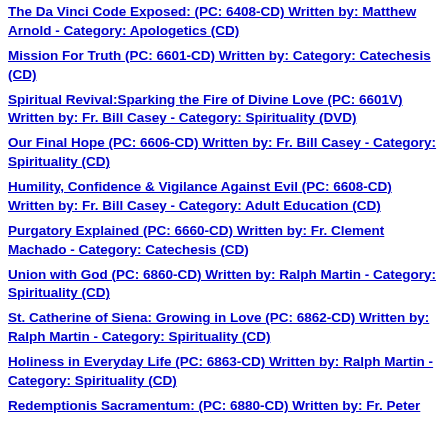The Da Vinci Code Exposed: (PC: 6408-CD) Written by: Matthew Arnold - Category: Apologetics (CD)
Mission For Truth (PC: 6601-CD) Written by: Category: Catechesis (CD)
Spiritual Revival:Sparking the Fire of Divine Love (PC: 6601V) Written by: Fr. Bill Casey - Category: Spirituality (DVD)
Our Final Hope (PC: 6606-CD) Written by: Fr. Bill Casey - Category: Spirituality (CD)
Humility, Confidence & Vigilance Against Evil (PC: 6608-CD) Written by: Fr. Bill Casey - Category: Adult Education (CD)
Purgatory Explained (PC: 6660-CD) Written by: Fr. Clement Machado - Category: Catechesis (CD)
Union with God (PC: 6860-CD) Written by: Ralph Martin - Category: Spirituality (CD)
St. Catherine of Siena: Growing in Love (PC: 6862-CD) Written by: Ralph Martin - Category: Spirituality (CD)
Holiness in Everyday Life (PC: 6863-CD) Written by: Ralph Martin - Category: Spirituality (CD)
Redemptionis Sacramentum: (PC: 6880-CD) Written by: Fr. Peter...